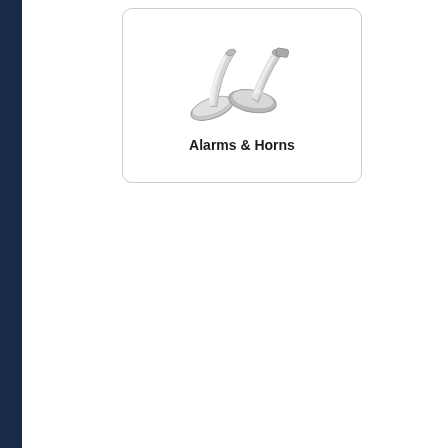[Figure (photo): A chrome/silver dual air horn (two trumpet-style horns) product image inside a rounded-corner card]
Alarms & Horns